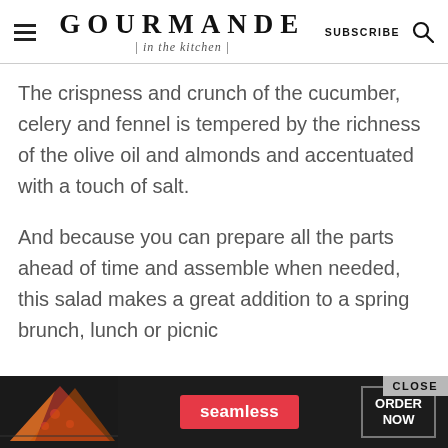GOURMANDE | in the kitchen | SUBSCRIBE
The crispness and crunch of the cucumber, celery and fennel is tempered by the richness of the olive oil and almonds and accentuated with a touch of salt.
And because you can prepare all the parts ahead of time and assemble when needed, this salad makes a great addition to a spring brunch, lunch or picnic
[Figure (other): Advertisement banner for Seamless food delivery showing pizza image on left, Seamless red badge in center, and ORDER NOW button on right with a CLOSE button overlay]